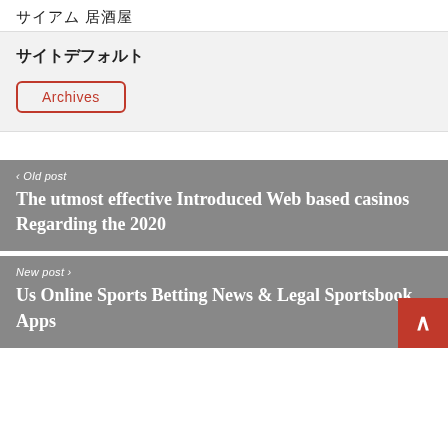サイアム 居酒屋
サイトデフォルト
Archives
‹ Old post
The utmost effective Introduced Web based casinos Regarding the 2020
New post ›
Us Online Sports Betting News & Legal Sportsbook Apps